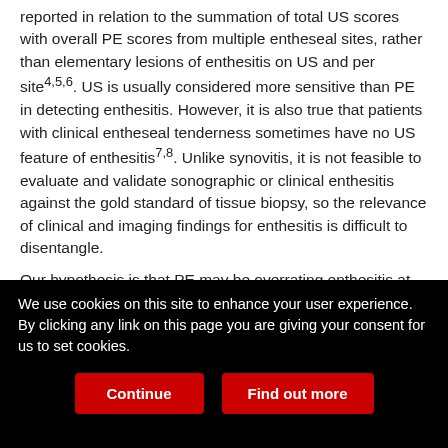reported in relation to the summation of total US scores with overall PE scores from multiple entheseal sites, rather than elementary lesions of enthesitis on US and per site4,5,6. US is usually considered more sensitive than PE in detecting enthesitis. However, it is also true that patients with clinical entheseal tenderness sometimes have no US feature of enthesitis7,8. Unlike synovitis, it is not feasible to evaluate and validate sonographic or clinical enthesitis against the gold standard of tissue biopsy, so the relevance of clinical and imaging findings for enthesitis is difficult to disentangle.
Our hypothesis is that PE may be overrating enthesitis at certain sites, whereas the link between US and PE can be better in others. There is limited information on the relationship between clinical and
We use cookies on this site to enhance your user experience. By clicking any link on this page you are giving your consent for us to set cookies.